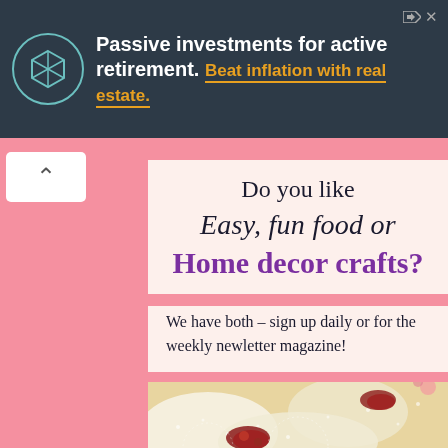[Figure (other): Advertisement banner with dark slate background. Circular logo with hexagonal icon on left. Text reads 'Passive investments for active retirement. Beat inflation with real estate.' Small share/close icons top right.]
[Figure (other): Back navigation chevron button (^) on white rounded rectangle background, on pink background.]
Do you like Easy, fun food or Home decor crafts?
We have both – sign up daily or for the weekly newletter magazine!
[Figure (photo): Close-up food photo of powdered sugar dusted pastries filled with dark red cherry/berry jam filling, placed on white lace doily. Pink floral background visible.]